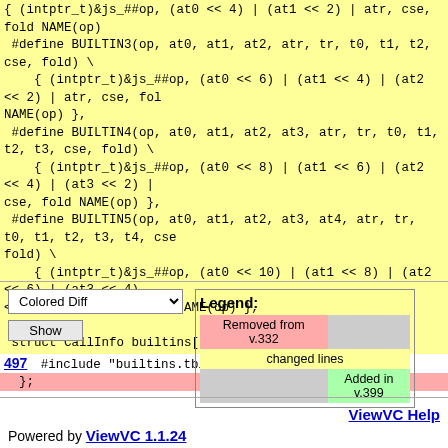Code diff block showing BUILTIN3, BUILTIN4, BUILTIN5 macro definitions and struct CallInfo builtins[] = { with line 497 #include "builtins.tbl" and }; in red
Colored Diff dropdown and Show button
| Legend: |  |
| --- | --- |
| Removed from v.332 |  |
| changed lines |  |
|  | Added in v.399 |
ViewVC Help
Powered by ViewVC 1.1.24